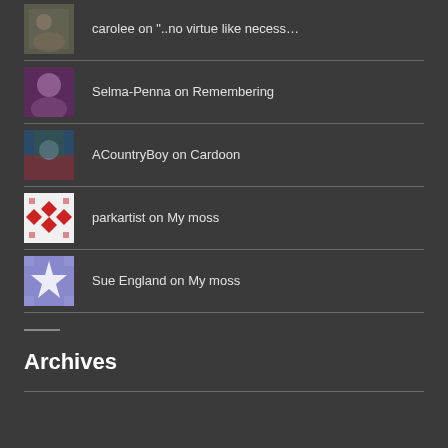carolee on "..no virtue like necess…"
Selma-Penna on Remembering
ACountryBoy on Cardoon
parkartist on My moss
Sue England on My moss
Archives